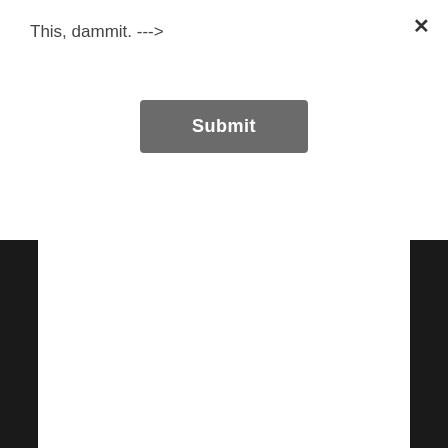This, dammit. --->
Submit
3. Meet retirement savings targets that not even the average Baby Boomer can, and
4. Do all the above in an economic environment that's hostile to young workers.
No wonder Millennials feel shit on.
But not by me, man. As a member of a generation that had it much easier, I'll fling participation trophies at Millennials like confetti at a wedding... because from where I swing in this hammock, it looks like they're still showing up to a game that's completely rigged against them.